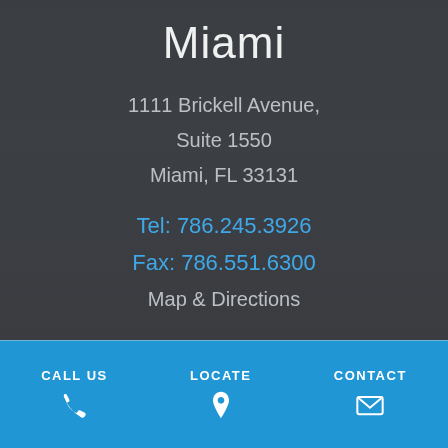Miami
1111 Brickell Avenue,
Suite 1550
Miami, FL 33131
Tel: 786.245.3926
Fax: 786.551.6300
Map & Directions
Fort Lauderdale
CALL US  LOCATE  CONTACT